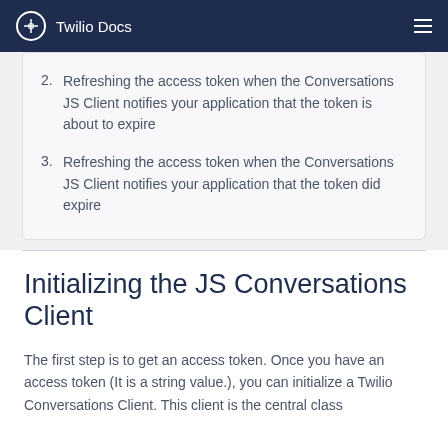Twilio Docs
Refreshing the access token when the Conversations JS Client notifies your application that the token is about to expire
Refreshing the access token when the Conversations JS Client notifies your application that the token did expire
Initializing the JS Conversations Client
The first step is to get an access token. Once you have an access token (It is a string value.), you can initialize a Twilio Conversations Client. This client is the central class...